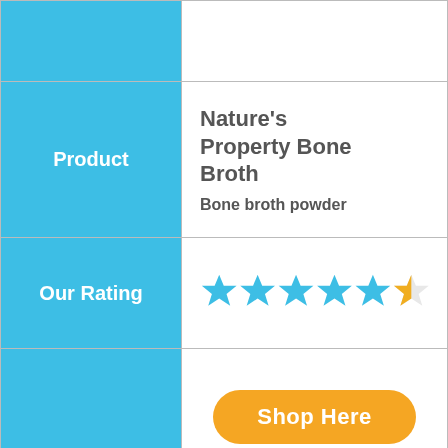|  |  |
| --- | --- |
|  |  |
| Product | Nature's Property Bone Broth
Bone broth powder |
| Our Rating | 4.5 stars |
|  | Shop Here |
|  |  |